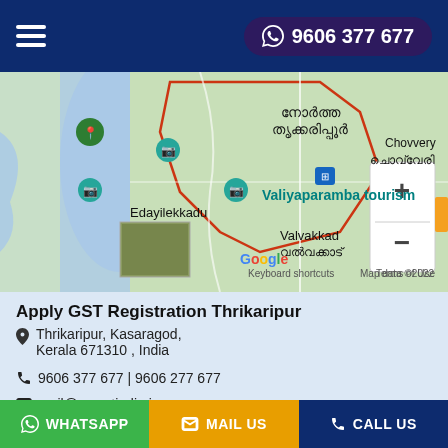9606 377 677
[Figure (map): Google Maps screenshot showing Thrikaripur / Valiyaparamba area in Kasaragod, Kerala. Shows place names including Chovvery, Valiyaparamba tourism, Edayilekkadu, Valvakkad, with a red boundary polygon. Map data ©2022.]
Apply GST Registration Thrikaripur
Thrikaripur, Kasaragod, Kerala 671310 , India
9606 377 677 | 9606 277 677
mail@mygstindia.in
WHATSAPP | MAIL US | CALL US